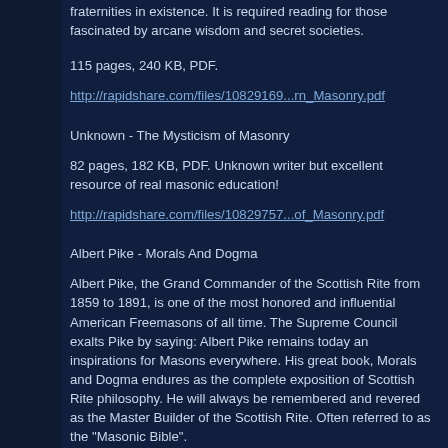fraternities in existence. It is required reading for those fascinated by arcane wisdom and secret societies.
115 pages, 240 KB, PDF.
http://rapidshare.com/files/10829169...rn_Masonry.pdf
Unknown - The Mysticism of Masonry
82 pages, 182 KB, PDF. Unknown writer but excellent resource of real masonic education!
http://rapidshare.com/files/10829757...of_Masonry.pdf
Albert Pike - Morals And Dogma
Albert Pike, the Grand Commander of the Scottish Rite from 1859 to 1891, is one of the most honored and influential American Freemasons of all time. The Supreme Council exalts Pike by saying: Albert Pike remains today an inspirations for Masons everywhere. His great book, Morals and Dogma endures as the complete exposition of Scottish Rite philosophy. He will always be remembered and revered as the Master Builder of the Scottish Rite. Often referred to as the "Masonic Bible".
CONTENTS: Apprentice; Fellow-craft; Master; Secret Master; Perfect Master; Intimate Secretary; Provost and Judge; Intendant of the Building; Elu of the Nine; Elu of the Fifteen; Elu of the Twelve; Master Architect; Royal